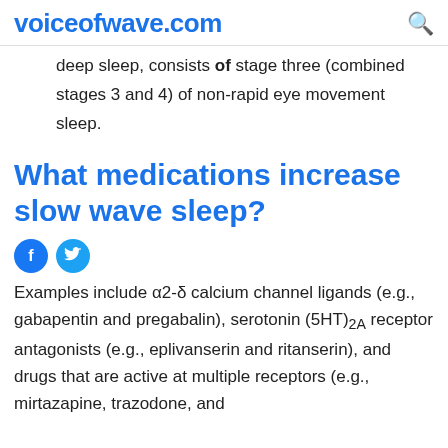voiceofwave.com
deep sleep, consists of stage three (combined stages 3 and 4) of non-rapid eye movement sleep.
What medications increase slow wave sleep?
Examples include α2-δ calcium channel ligands (e.g., gabapentin and pregabalin), serotonin (5HT)2A receptor antagonists (e.g., eplivanserin and ritanserin), and drugs that are active at multiple receptors (e.g., mirtazapine, trazodone, and